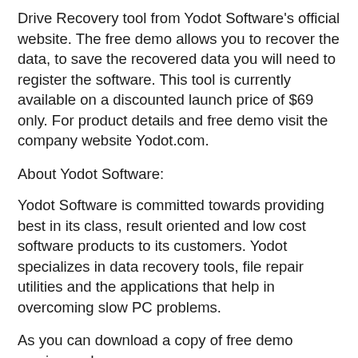Drive Recovery tool from Yodot Software's official website. The free demo allows you to recover the data, to save the recovered data you will need to register the software. This tool is currently available on a discounted launch price of $69 only. For product details and free demo visit the company website Yodot.com.
About Yodot Software:
Yodot Software is committed towards providing best in its class, result oriented and low cost software products to its customers. Yodot specializes in data recovery tools, file repair utilities and the applications that help in overcoming slow PC problems.
As you can download a copy of free demo version and...